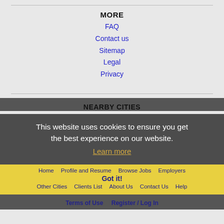MORE
FAQ
Contact us
Sitemap
Legal
Privacy
NEARBY CITIES
This website uses cookies to ensure you get the best experience on our website.
Learn more
Home   Profile and Resume   Browse Jobs   Employers   Other Cities   Clients List   About Us   Contact Us   Help
Got it!
Terms of Use   Register / Log In